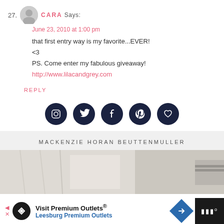27. CARA SAYS: June 23, 2010 at 1:00 pm
that first entry way is my favorite...EVER!
<3
PS. Come enter my fabulous giveaway!
http://www.lilacandgrey.com
REPLY
[Figure (infographic): Five dark navy social media icon circles: Instagram, Twitter, Facebook, Pinterest, and a heart/Bloglovin icon]
MACKENZIE HORAN BEUTTENMULLER
[Figure (photo): Partial photo of a bright interior room with curtains and window]
[Figure (infographic): Advertisement bar: Visit Premium Outlets® Leesburg Premium Outlets with logos and arrow icon]